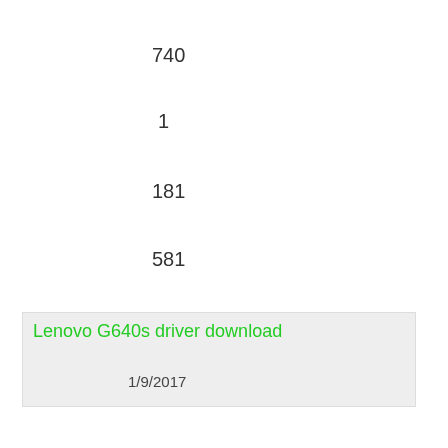740
1
181
581
Lenovo G640s driver download
1/9/2017